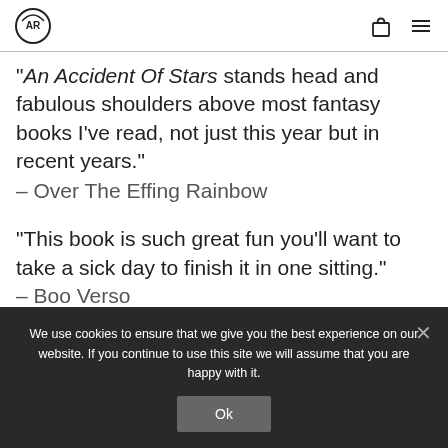AR logo, shopping bag icon, menu icon
“An Accident Of Stars stands head and fabulous shoulders above most fantasy books I’ve read, not just this year but in recent years.”
– Over The Effing Rainbow
“This book is such great fun you’ll want to take a sick day to finish it in one sitting.”
– Boo Verso
We use cookies to ensure that we give you the best experience on our website. If you continue to use this site we will assume that you are happy with it.
Ok